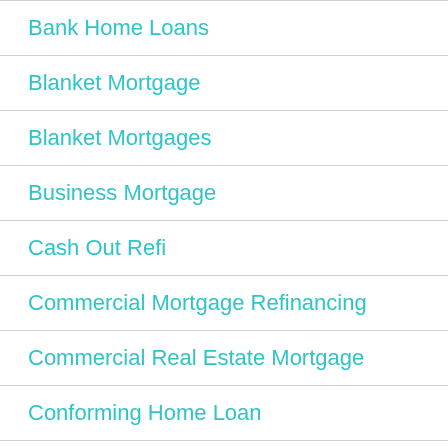Bank Home Loans
Blanket Mortgage
Blanket Mortgages
Business Mortgage
Cash Out Refi
Commercial Mortgage Refinancing
Commercial Real Estate Mortgage
Conforming Home Loan
^
Conforming...